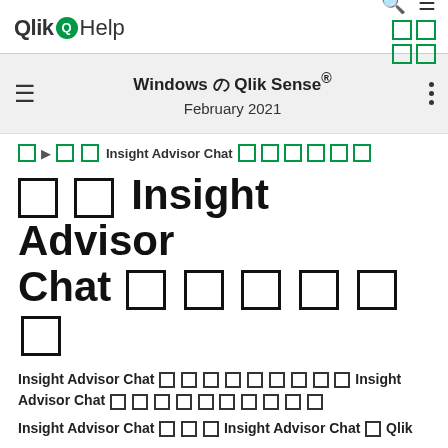Qlik Help
Windows の Qlik Sense® February 2021
首页 ▶ 管理 Insight Advisor Chat 连接和用法
管理 Insight Advisor Chat 连接和用法
Insight Advisor Chat 使用一些必须建立的连接以使 Insight Advisor Chat 正常运行并将其提供给用户。
Insight Advisor Chat 连接 Insight Advisor Chat 与 Qlik